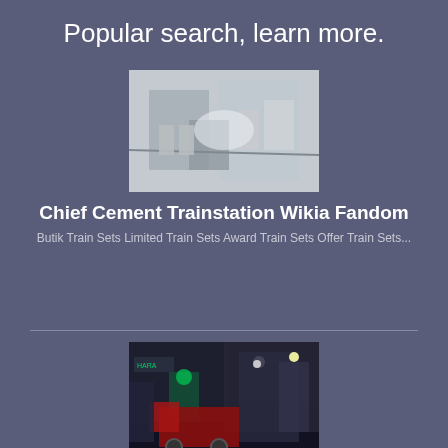Popular search, learn more.
[Figure (photo): Industrial or train station interior, bright and washed out image]
Chief Cement Trainstation Wikia Fandom
Butik Train Sets Limited Train Sets Award Train Sets Offer Train Sets...
[Figure (photo): Nighttime industrial scene with neon green lights, truck or train in foreground]
Captains of Cement and Concrete Leader Series CEO of PPC ,